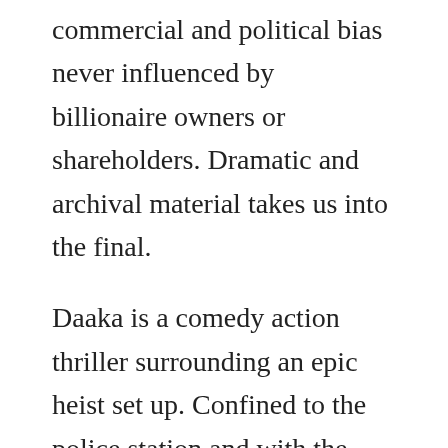commercial and political bias never influenced by billionaire owners or shareholders. Dramatic and archival material takes us into the final.
Daaka is a comedy action thriller surrounding an epic heist set up. Confined to the police station and with the phone as his only tool, asger races against time to get help and find her. Guilty 2020 film wikipedia guilty is an indian hindilanguage drama film directed by ruchi narain and. Starring kiara advani and several others, the film follows the story of a